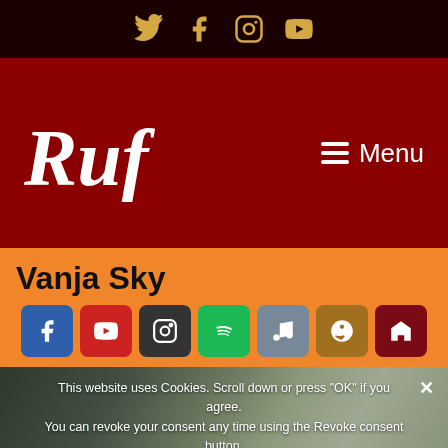Social icons: Twitter, Facebook, Instagram, YouTube
[Figure (logo): Ruf Records logo in white italic serif font on dark red background, with hamburger Menu button on the right]
Vanja Sky
[Figure (infographic): Row of social media icon buttons: Facebook (blue), YouTube (red), Instagram (dark), Spotify (green), Music note (grey-blue), Amazon (gold), Home (dark red)]
[Figure (photo): Black and white photo of Vanja Sky smiling, holding a guitar, overlaid with a cookie consent banner reading: This website uses Cookies. Scroll down or press OK if you agree. You can revoke your consent any time using the Revoke consent button. Buttons: OK, Privacy Notice. Close X button top right. Scroll-up arrow bottom right.]
This website uses Cookies. Scroll down or press "OK" if you agree. You can revoke your consent any time using the Revoke consent button.